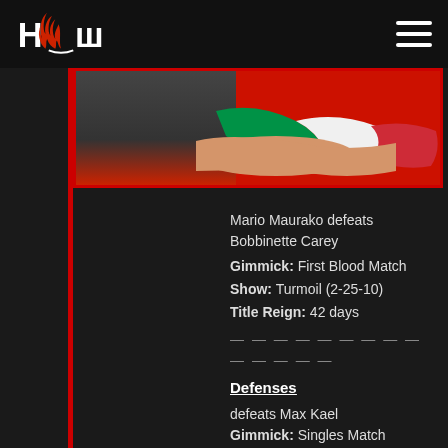HCW logo with hamburger menu
[Figure (photo): Close-up image of a hand/arm with Italian flag bandaging on a red background]
Mario Maurako defeats Bobbinette Carey
Gimmick: First Blood Match
Show: Turmoil (2-25-10)
Title Reign: 42 days
——————————————
Defenses
defeats Max Kael
Gimmick: Singles Match
Show: March 2 Glory (3-24-10)